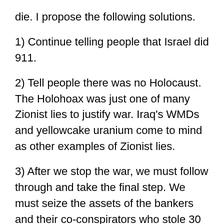die. I propose the following solutions.
1) Continue telling people that Israel did 911.
2) Tell people there was no Holocaust. The Holohoax was just one of many Zionist lies to justify war. Iraq's WMDs and yellowcake uranium come to mind as other examples of Zionist lies.
3) After we stop the war, we must follow through and take the final step. We must seize the assets of the bankers and their co-conspirators who stole 30 trillion dollars from us. We must put the bankers in prison. And we must seize the assets of the media who lied to cover up tens of trillions of dollars in fraud so they are as guilty as the politicians who made their crimes possible. Besides it was media lies that helped to kill millions of innocent people in